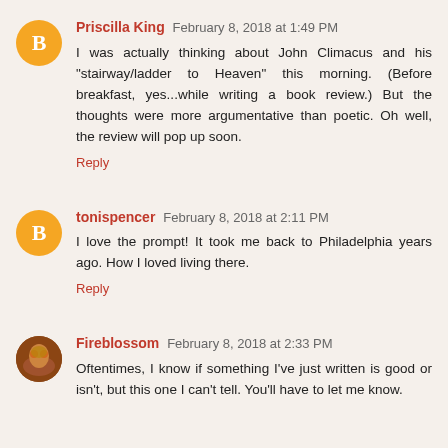Priscilla King February 8, 2018 at 1:49 PM
I was actually thinking about John Climacus and his "stairway/ladder to Heaven" this morning. (Before breakfast, yes...while writing a book review.) But the thoughts were more argumentative than poetic. Oh well, the review will pop up soon.
Reply
tonispencer February 8, 2018 at 2:11 PM
I love the prompt! It took me back to Philadelphia years ago. How I loved living there.
Reply
Fireblossom February 8, 2018 at 2:33 PM
Oftentimes, I know if something I've just written is good or isn't, but this one I can't tell. You'll have to let me know.